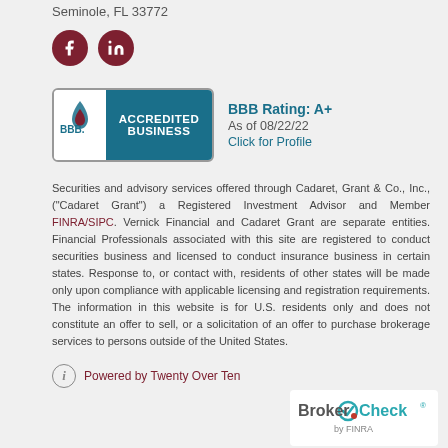Seminole, FL 33772
[Figure (illustration): Two circular dark red social media icons: Facebook (f) and LinkedIn (in)]
[Figure (illustration): BBB Accredited Business badge with teal background showing BBB logo on left and 'ACCREDITED BUSINESS' text on right. Next to it: 'BBB Rating: A+', 'As of 08/22/22', 'Click for Profile']
Securities and advisory services offered through Cadaret, Grant & Co., Inc., ("Cadaret Grant") a Registered Investment Advisor and Member FINRA/SIPC. Vernick Financial and Cadaret Grant are separate entities. Financial Professionals associated with this site are registered to conduct securities business and licensed to conduct insurance business in certain states. Response to, or contact with, residents of other states will be made only upon compliance with applicable licensing and registration requirements. The information in this website is for U.S. residents only and does not constitute an offer to sell, or a solicitation of an offer to purchase brokerage services to persons outside of the United States.
Powered by Twenty Over Ten
[Figure (logo): BrokerCheck logo by FINRA — teal text with a circular check mark graphic]